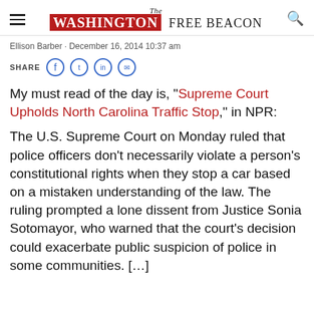The Washington Free Beacon
Ellison Barber · December 16, 2014 10:37 am
SHARE
My must read of the day is, "Supreme Court Upholds North Carolina Traffic Stop," in NPR:
The U.S. Supreme Court on Monday ruled that police officers don't necessarily violate a person's constitutional rights when they stop a car based on a mistaken understanding of the law. The ruling prompted a lone dissent from Justice Sonia Sotomayor, who warned that the court's decision could exacerbate public suspicion of police in some communities. […]